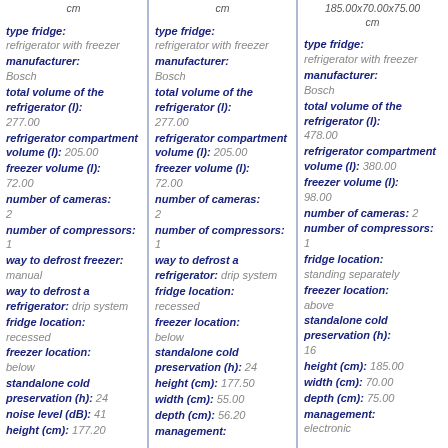cm
cm
185.00x70.00x75.00 cm
type fridge: refrigerator with freezer manufacturer: Bosch total volume of the refrigerator (l): 277.00 refrigerator compartment volume (l): 205.00 freezer volume (l): 72.00 number of cameras: 2 number of compressors: 1 way to defrost freezer: manual way to defrost a refrigerator: drip system fridge location: recessed freezer location: below standalone cold preservation (h): 24 noise level (dB): 41 height (cm): 177.20
type fridge: refrigerator with freezer manufacturer: Bosch total volume of the refrigerator (l): 277.00 refrigerator compartment volume (l): 205.00 freezer volume (l): 72.00 number of cameras: 2 number of compressors: 1 way to defrost a refrigerator: drip system fridge location: recessed freezer location: below standalone cold preservation (h): 24 height (cm): 177.50 width (cm): 55.00 depth (cm): 56.20 management:
type fridge: refrigerator with freezer manufacturer: Bosch total volume of the refrigerator (l): 478.00 refrigerator compartment volume (l): 380.00 freezer volume (l): 98.00 number of cameras: 2 number of compressors: 1 fridge location: standing separately freezer location: above standalone cold preservation (h): 16 height (cm): 185.00 width (cm): 70.00 depth (cm): 75.00 management: electronic